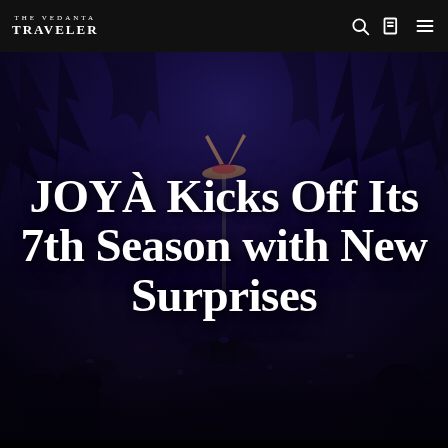THE VEDANTA TRAVELLER
[Figure (photo): Dark atmospheric photo of a performance venue/theater with blue-purple lighting. An acrobat performs a handstand on a pole above a stage. In the background are tree silhouettes painted on the set. The audience is seated at tables in a dinner theater setting with dim purple/blue ambient lighting.]
JOYÀ Kicks Off Its 7th Season with New Surprises